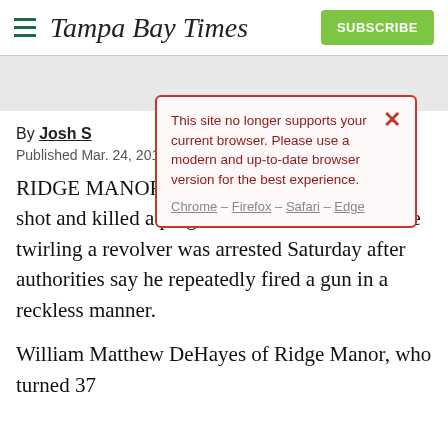Tampa Bay Times | SUBSCRIBE
[Figure (screenshot): Browser compatibility warning modal with red border on pink background, showing message 'This site no longer supports your current browser. Please use a modern and up-to-date browser version for the best experience.' with links to Chrome, Firefox, Safari, Edge]
By Josh S
Published Mar. 24, 2016
RIDGE MANOR — A man who accidentally shot and killed a pregnant woman in 2014 while twirling a revolver was arrested Saturday after authorities say he repeatedly fired a gun in a reckless manner.
William Matthew DeHayes of Ridge Manor, who turned 37